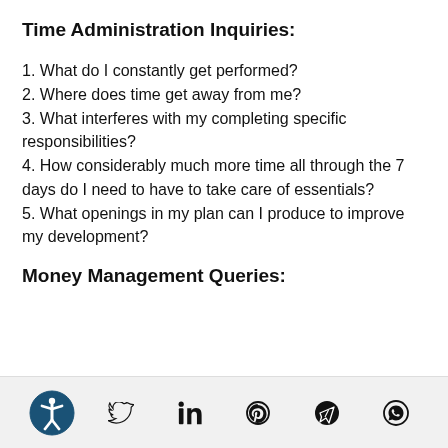Time Administration Inquiries:
1. What do I constantly get performed?
2. Where does time get away from me?
3. What interferes with my completing specific responsibilities?
4. How considerably much more time all through the 7 days do I need to have to take care of essentials?
5. What openings in my plan can I produce to improve my development?
Money Management Queries:
[Figure (infographic): Footer bar with accessibility icon and social media icons: Twitter, LinkedIn, Pinterest, Telegram, WhatsApp]